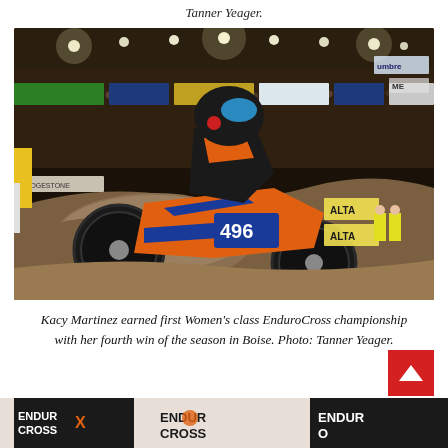Tanner Yeager.
[Figure (photo): Motocross rider #496 on an orange and blue KTM dirt bike navigating a rocky obstacle at an indoor EnduroCross event with a large crowd in the background. Arena lighting and sponsor banners visible.]
Kacy Martinez earned first Women's class EnduroCross championship with her fourth win of the season in Boise. Photo: Tanner Yeager.
[Figure (photo): Partial bottom strip showing EnduroCross event branding/logo banners in black, white and orange.]